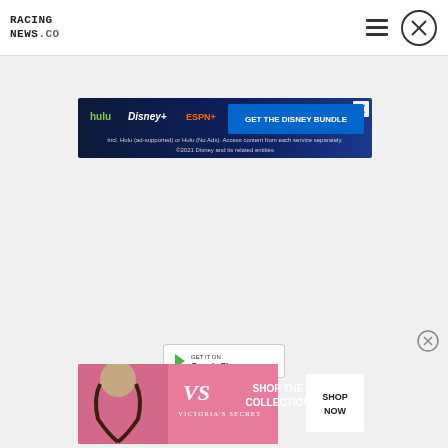RACING NEWS .CO
[Figure (screenshot): Disney Bundle advertisement banner: hulu, Disney+, ESPN+ logos with text 'GET THE DISNEY BUNDLE'. Incl. Hulu (ad-supported) or Hulu (No Ads). Access content from each service separately. ©2021 Disney and its related entities]
[Figure (screenshot): Google Play Store button (partially visible)]
[Figure (screenshot): Victoria's Secret advertisement: 'SHOP THE COLLECTION' with 'SHOP NOW' button and Victoria's Secret logo on pink background]